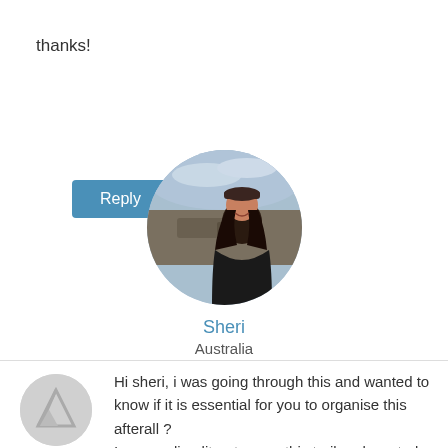thanks!
Reply
[Figure (photo): Circular profile photo of Sheri, a woman smiling outdoors on a rocky mountain summit with a cloudy sky in the background, wearing a dark cap and jacket.]
Sheri
Australia
[Figure (illustration): Grey circular avatar placeholder with a stylized mountain/hiker icon in darker grey.]
Karan
Feb 03
Hi sheri, i was going through this and wanted to know if it is essential for you to organise this afterall ?
I am reading literature on this trail and wanted more information on local